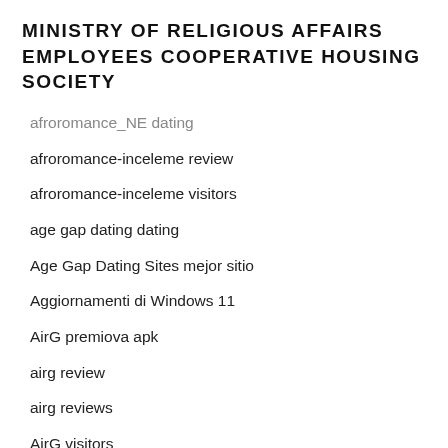MINISTRY OF RELIGIOUS AFFAIRS EMPLOYEES COOPERATIVE HOUSING SOCIETY
afroromance_NE dating
afroromance-inceleme review
afroromance-inceleme visitors
age gap dating dating
Age Gap Dating Sites mejor sitio
Aggiornamenti di Windows 11
AirG premiova apk
airg review
airg reviews
AirG visitors